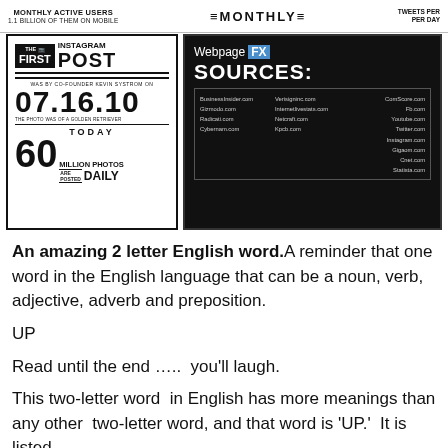MONTHLY ACTIVE USERS 1.1 BILLION OF THEM ON MOBILE | MONTHLY | TWEETS PER DAY
[Figure (infographic): Instagram infographic: THE FIRST POST was by co-founder Kevin Systrom on 07.16.10. The photo was of a golden retriever. TODAY 60 MILLION PHOTOS ARE POSTED DAILY]
[Figure (infographic): WebpageFX SOURCES: listing ComScore.com, Fb.com, Youtube.com, Twitter.com, Instagram.com, Gigaom.com, Cnet.com, Statista.com, BusinessInsider.com, Gizmodo.com, Radicati.com, Cybernam.com, Verisigninc.com, Internetlivestats.com, Netcraft.com, Kpcb.com]
An amazing 2 letter English word. A reminder that one word in the English language that can be a noun, verb, adjective, adverb and preposition.
UP
Read until the end …..  you'll laugh.
This two-letter word  in English has more meanings than any other  two-letter word, and that word is 'UP.'  It is listed